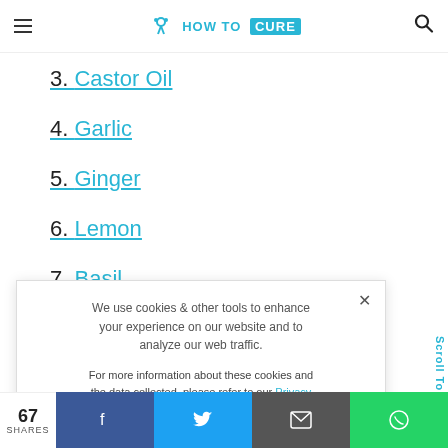HOW TO CURE
3. Castor Oil
4. Garlic
5. Ginger
6. Lemon
7. Basil
We use cookies & other tools to enhance your experience on our website and to analyze our web traffic. For more information about these cookies and the data collected, please refer to our Privacy Policy.
I ACCEPT USE OF COOKIES
67 SHARES